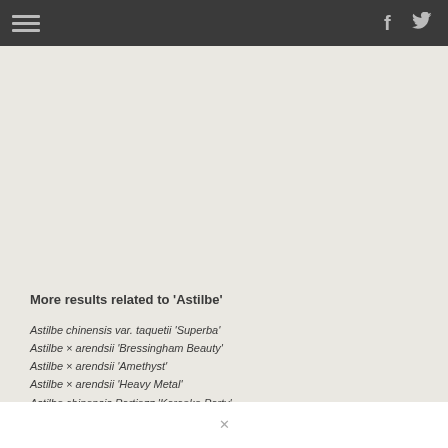Navigation bar with hamburger menu, Facebook and Twitter icons
More results related to 'Astilbe'
Astilbe chinensis var. taquetii 'Superba'
Astilbe × arendsii 'Bressingham Beauty'
Astilbe × arendsii 'Amethyst'
Astilbe × arendsii 'Heavy Metal'
Astilbe chinensis Partiezz 'Karaoke Party'
Astilbe simplicifolia 'Pink Lightning'
Astilbe × arendsii 'Catherine Deneuve'